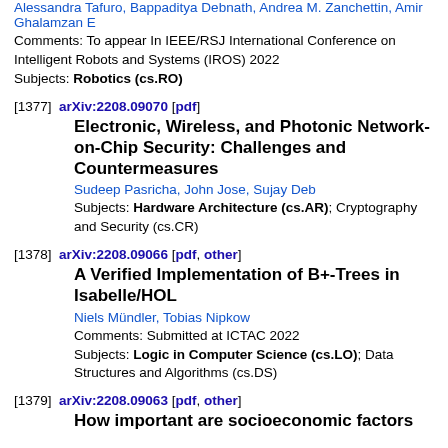Alessandra Tafuro, Bappaditya Debnath, Andrea M. Zanchettin, Amir Ghalamzan E
Comments: To appear In IEEE/RSJ International Conference on Intelligent Robots and Systems (IROS) 2022
Subjects: Robotics (cs.RO)
[1377]  arXiv:2208.09070 [pdf]
Electronic, Wireless, and Photonic Network-on-Chip Security: Challenges and Countermeasures
Sudeep Pasricha, John Jose, Sujay Deb
Subjects: Hardware Architecture (cs.AR); Cryptography and Security (cs.CR)
[1378]  arXiv:2208.09066 [pdf, other]
A Verified Implementation of B+-Trees in Isabelle/HOL
Niels Mündler, Tobias Nipkow
Comments: Submitted at ICTAC 2022
Subjects: Logic in Computer Science (cs.LO); Data Structures and Algorithms (cs.DS)
[1379]  arXiv:2208.09063 [pdf, other]
How important are socioeconomic factors